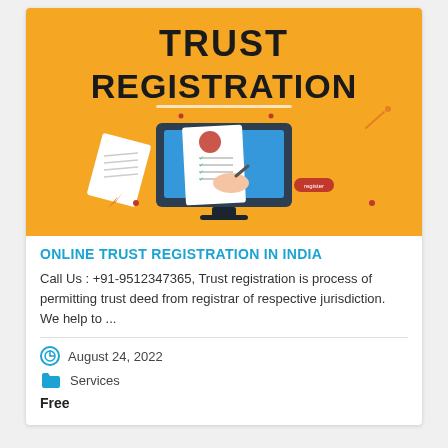[Figure (illustration): Yellow background promotional illustration for Trust Registration showing a computer monitor with a hand signing a document, with bold text 'TRUST REGISTRATION' at the top]
ONLINE TRUST REGISTRATION IN INDIA
Call Us : +91-9512347365, Trust registration is process of permitting trust deed from registrar of respective jurisdiction. We help to ...
August 24, 2022
Services
Free